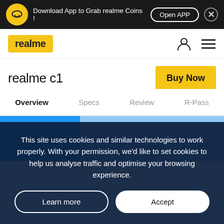[Figure (screenshot): Realme app download banner with logo, text, Open APP button, and close button on dark background]
[Figure (logo): Realme logo in yellow box in navigation bar with user icon and hamburger menu]
realme c1
Buy Now
Overview
Specs
Review
R-Pass
[Figure (photo): Blue gradient background area for realme C1 product image]
This site uses cookies and similar technologies to work properly. With your permission, we'd like to set cookies to help us analyse traffic and optimise your browsing experience.
Learn more
Accept